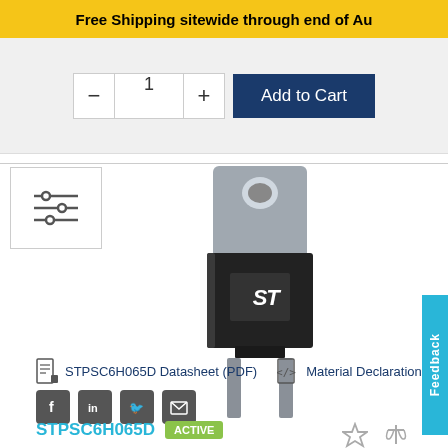Free Shipping sitewide through end of Au
[Figure (screenshot): Add to Cart UI with quantity controls: minus button, quantity input showing 1, plus button, and Add to Cart button]
[Figure (photo): ST Microelectronics STPSC6H065D power diode component in TO-220AC package, 3D render showing black body with metal tab and two leads, ST logo visible]
STPSC6H065D Datasheet (PDF)
Material Declaration
STPSC6H065D ACTIVE
Feedback